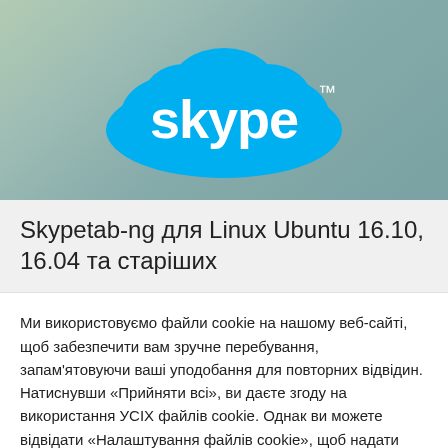[Figure (logo): Skype logo — white 'skype' text with trademark symbol on a blue cloud shape, over a grey-green gradient background]
Skypetab-ng для Linux Ubuntu 16.10, 16.04 та старіших
Ми використовуємо файли cookie на нашому веб-сайті, щоб забезпечити вам зручне перебування, запам'ятовуючи ваші уподобання для повторних відвідин. Натиснувши «Прийняти всі», ви даєте згоду на використання УСІХ файлів cookie. Однак ви можете відвідати «Налаштування файлів cookie», щоб надати контрольовану згоду.
Налаштування файлів cookie
Прийняти всі